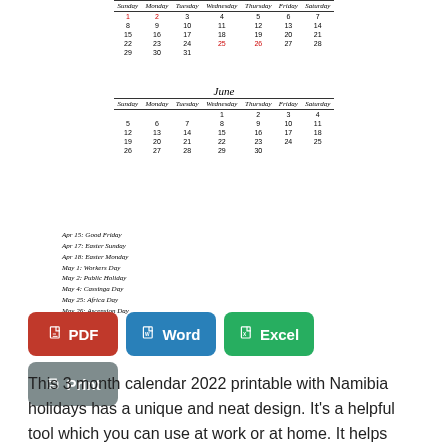| Sunday | Monday | Tuesday | Wednesday | Thursday | Friday | Saturday |
| --- | --- | --- | --- | --- | --- | --- |
| 1 | 2 | 3 | 4 | 5 | 6 | 7 |
| 8 | 9 | 10 | 11 | 12 | 13 | 14 |
| 15 | 16 | 17 | 18 | 19 | 20 | 21 |
| 22 | 23 | 24 | 25 | 26 | 27 | 28 |
| 29 | 30 | 31 |  |  |  |  |
June
| Sunday | Monday | Tuesday | Wednesday | Thursday | Friday | Saturday |
| --- | --- | --- | --- | --- | --- | --- |
|  |  |  | 1 | 2 | 3 | 4 |
| 5 | 6 | 7 | 8 | 9 | 10 | 11 |
| 12 | 13 | 14 | 15 | 16 | 17 | 18 |
| 19 | 20 | 21 | 22 | 23 | 24 | 25 |
| 26 | 27 | 28 | 29 | 30 |  |  |
Apr 15: Good Friday
Apr 17: Easter Sunday
Apr 18: Easter Monday
May 1: Workers Day
May 2: Public Holiday
May 4: Cassinga Day
May 25: Africa Day
May 26: Ascension Day
[Figure (other): Download buttons: PDF (red), Word (blue), Excel (green), Print (gray)]
This 3 month calendar 2022 printable with Namibia holidays has a unique and neat design. It’s a helpful tool which you can use at work or at home. It helps remind